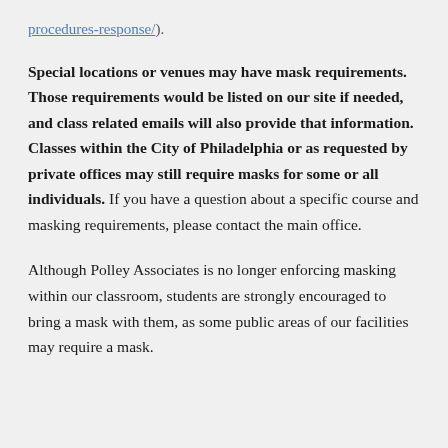procedures-response/).
Special locations or venues may have mask requirements. Those requirements would be listed on our site if needed, and class related emails will also provide that information. Classes within the City of Philadelphia or as requested by private offices may still require masks for some or all individuals. If you have a question about a specific course and masking requirements, please contact the main office.
Although Polley Associates is no longer enforcing masking within our classroom, students are strongly encouraged to bring a mask with them, as some public areas of our facilities may require a mask.